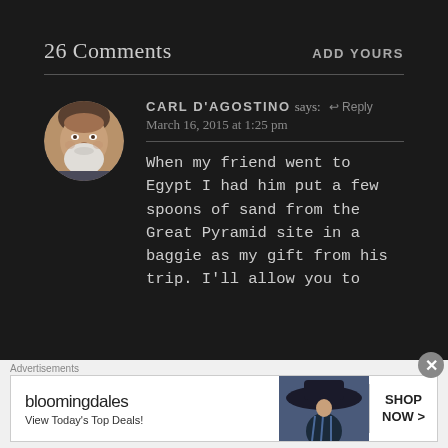26 Comments
ADD YOURS
[Figure (photo): Circular profile photo of an older man with white beard]
CARL D'AGOSTINO says: ↩ Reply
March 16, 2015 at 1:25 pm
When my friend went to Egypt I had him put a few spoons of sand from the Great Pyramid site in a baggie as my gift from his trip. I'll allow you to
[Figure (screenshot): Bloomingdale's advertisement: 'bloomingdales View Today's Top Deals!' with a woman in a hat and SHOP NOW > button]
Advertisements